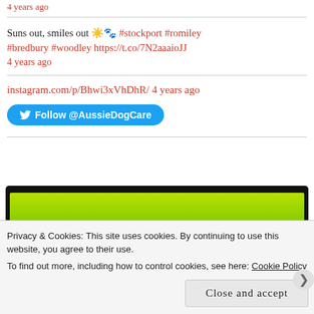4 years ago
Suns out, smiles out ☀️🐾 #stockport #romiley #bredbury #woodley https://t.co/7N2aaaioJJ
4 years ago
instagram.com/p/Bhwi3xVhDhR/ 4 years ago
Follow @AussieDogCare
[Figure (photo): A photo showing green grass on a dark/black background frame, partially visible, from a social media embed]
Privacy & Cookies: This site uses cookies. By continuing to use this website, you agree to their use.
To find out more, including how to control cookies, see here: Cookie Policy
Close and accept